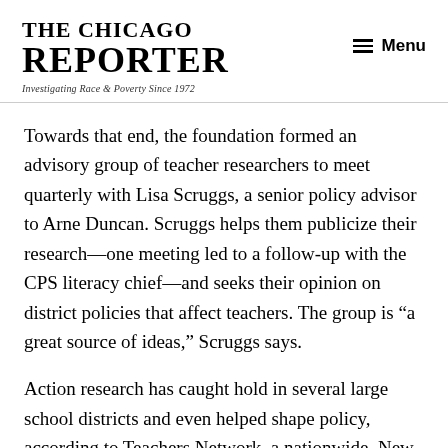THE CHICAGO REPORTER — Investigating Race & Poverty Since 1972
Towards that end, the foundation formed an advisory group of teacher researchers to meet quarterly with Lisa Scruggs, a senior policy advisor to Arne Duncan. Scruggs helps them publicize their research—one meeting led to a follow-up with the CPS literacy chief—and seeks their opinion on district policies that affect teachers. The group is “a great source of ideas,” Scruggs says.
Action research has caught hold in several large school districts and even helped shape policy, according to Teachers Network, a nationwide, New York-based